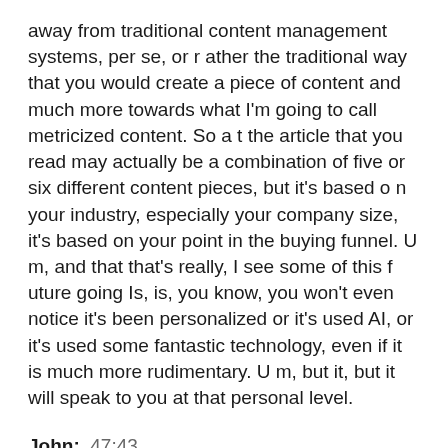away from traditional content management systems, per se, or r ather the traditional way that you would create a piece of content and much more towards what I'm going to call metricized content. So a t the article that you read may actually be a combination of five or six different content pieces, but it's based o n your industry, especially your company size, it's based on your point in the buying funnel. U m, and that that's really, I see some of this f uture going Is, is, you know, you won't even notice it's been personalized or it's used AI, or it's used some fantastic technology, even if it is much more rudimentary. U m, but it, but it will speak to you at that personal level.
John:  47:43
To me, that point that also ties into the, and the explicit in , and everything that the regulations that are in or coming in, Um, but I think with my